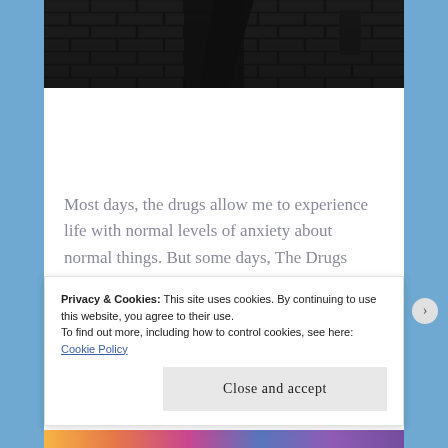[Figure (photo): Dark monochrome photograph showing a brick wall or dark corridor in shadow]
Most days, the drugs allow me to experience life with normal levels of anxiety about normal things. But some days, The Drugs Don't Work.
Privacy & Cookies: This site uses cookies. By continuing to use this website, you agree to their use.
To find out more, including how to control cookies, see here: Cookie Policy
Close and accept